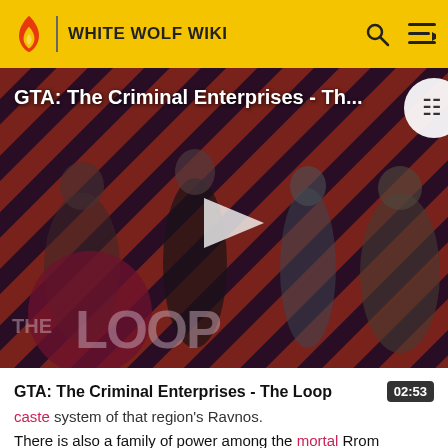WHITE WOLF WIKI
[Figure (screenshot): Video thumbnail for 'GTA: The Criminal Enterprises - The Loop' showing game characters on a diagonal striped red/dark background with The Loop logo overlay and a play button in the center]
GTA: The Criminal Enterprises - The Loop  02:53
caste system of that region's Ravnos.
There is also a family of power among the mortal Rrom